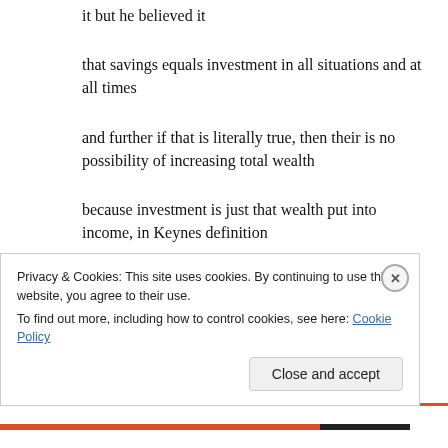it but he believed it
that savings equals investment in all situations and at all times
and further if that is literally true, then their is no possibility of increasing total wealth
because investment is just that wealth put into income, in Keynes definition
(remember he has to pay for all user cost prior to having some left over for income)
Privacy & Cookies: This site uses cookies. By continuing to use this website, you agree to their use.
To find out more, including how to control cookies, see here: Cookie Policy
Close and accept